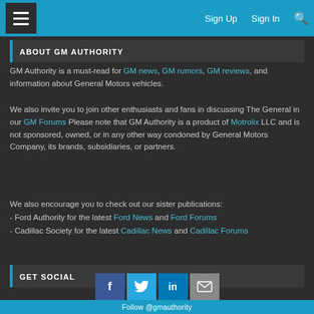≡  Sign Up  Sign In  🔍
ABOUT GM AUTHORITY
GM Authority is a must-read for GM news, GM rumors, GM reviews, and information about General Motors vehicles.
We also invite you to join other enthusiasts and fans in discussing The General in our GM Forums Please note that GM Authority is a product of Motrolix LLC and is not sponsored, owned, or in any other way condoned by General Motors Company, its brands, subsidiaries, or partners.
We also encourage you to check out our sister publications:
- Ford Authority for the latest Ford News and Ford Forums
- Cadillac Society for the latest Cadillac News and Cadillac Forums
GET SOCIAL
[Figure (infographic): Social media share buttons: Facebook (f), Twitter (bird), LinkedIn (in), and an envelope/more button, with a blue Follow @gmauthority bar below.]